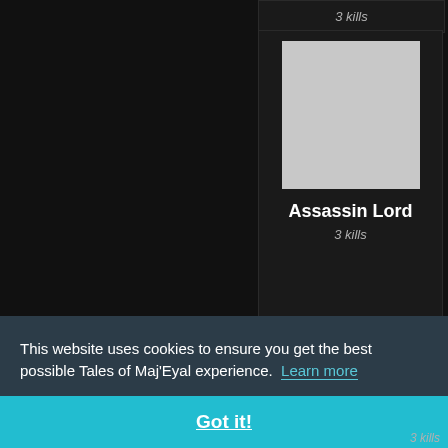3 kills
[Figure (screenshot): Game UI card showing Assassin Lord character with gray avatar image placeholder, bold white name 'Assassin Lord', and italic '3 kills' text below]
[Figure (screenshot): Partial game UI card at bottom showing a gray avatar image placeholder, cropped]
This website uses cookies to ensure you get the best possible Tales of Maj'Eyal experience.  Learn more
Got it!
3 kills